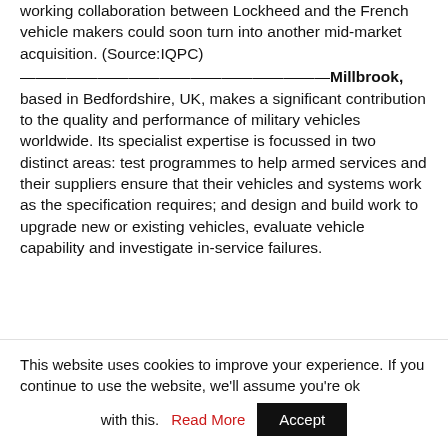working collaboration between Lockheed and the French vehicle makers could soon turn into another mid-market acquisition. (Source:IQPC) ————————————————————Millbrook, based in Bedfordshire, UK, makes a significant contribution to the quality and performance of military vehicles worldwide. Its specialist expertise is focussed in two distinct areas: test programmes to help armed services and their suppliers ensure that their vehicles and systems work as the specification requires; and design and build work to upgrade new or existing vehicles, evaluate vehicle capability and investigate in-service failures. Complementing these is driver and service training
This website uses cookies to improve your experience. If you continue to use the website, we'll assume you're ok with this. Read More Accept